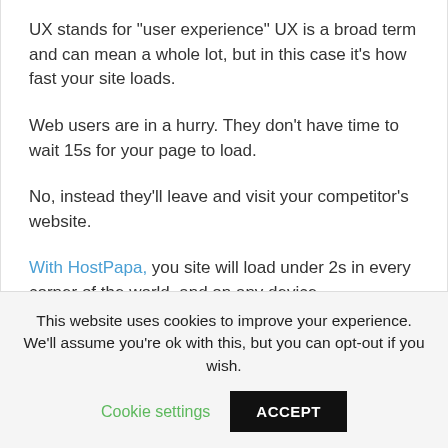UX stands for "user experience" UX is a broad term and can mean a whole lot, but in this case it's how fast your site loads.
Web users are in a hurry. They don't have time to wait 15s for your page to load.
No, instead they'll leave and visit your competitor's website.
With HostPapa, you site will load under 2s in every corner of the world, and on any device.
#2- Better SEO
This website uses cookies to improve your experience. We'll assume you're ok with this, but you can opt-out if you wish.
Cookie settings    ACCEPT